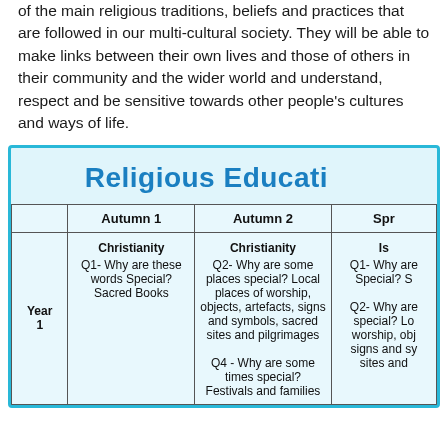of the main religious traditions, beliefs and practices that are followed in our multi-cultural society. They will be able to make links between their own lives and those of others in their community and the wider world and understand, respect and be sensitive towards other people's cultures and ways of life.
Religious Education
|  | Autumn 1 | Autumn 2 | Spr... |
| --- | --- | --- | --- |
| Year 1 | Christianity
Q1- Why are these words Special? Sacred Books | Christianity
Q2- Why are some places special? Local places of worship, objects, artefacts, signs and symbols, sacred sites and pilgrimages

Q4 - Why are some times special? Festivals and families | Is...
Q1- Why are... Special? S...

Q2- Why are... special? Lo... worship, obj... signs and sy... sites and ... |